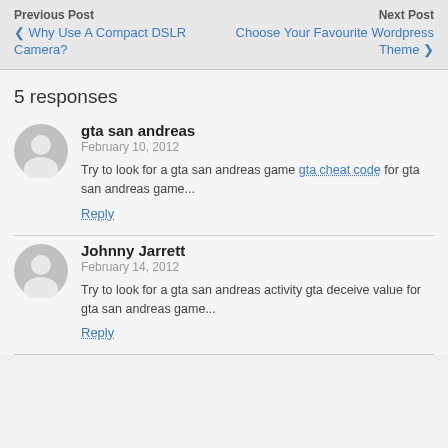Previous Post | Next Post | Why Use A Compact DSLR Camera? | Choose Your Favourite Wordpress Theme
5 responses
gta san andreas
February 10, 2012
Try to look for a gta san andreas game gta cheat code for gta san andreas game...
Reply
Johnny Jarrett
February 14, 2012
Try to look for a gta san andreas activity gta deceive value for gta san andreas game...
Reply